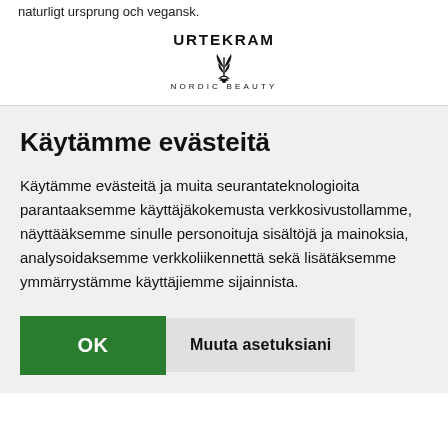naturligt ursprung och vegansk.
[Figure (logo): Urtekram Nordic Beauty logo with stylized plant/leaf illustration]
Käytämme evästeitä
Käytämme evästeitä ja muita seurantateknologioita parantaaksemme käyttäjäkokemusta verkkosivustollamme, näyttääksemme sinulle personoituja sisältöjä ja mainoksia, analysoidaksemme verkkoliikennettä sekä lisätäksemme ymmärrystämme käyttäjiemme sijainnista.
OK   Muuta asetuksiani